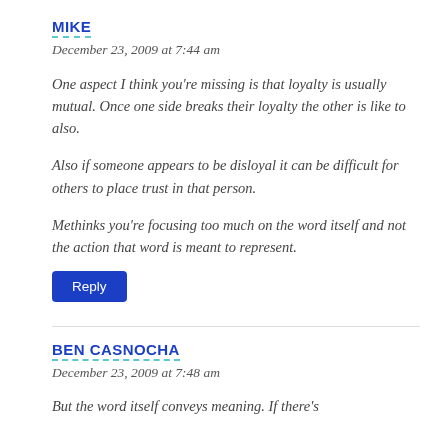MIKE
December 23, 2009 at 7:44 am
One aspect I think you’re missing is that loyalty is usually mutual. Once one side breaks their loyalty the other is like to also.

Also if someone appears to be disloyal it can be difficult for others to place trust in that person.

Methinks you’re focusing too much on the word itself and not the action that word is meant to represent.
Reply
BEN CASNOCHA
December 23, 2009 at 7:48 am
But the word itself conveys meaning. If there’s